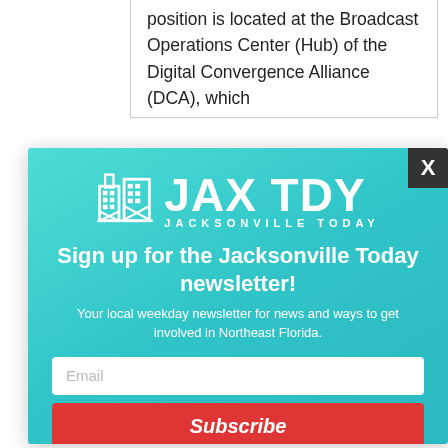position is located at the Broadcast Operations Center (Hub) of the Digital Convergence Alliance (DCA), which
[Figure (screenshot): JAX TDY Jacksonville Today newsletter signup modal overlay on a teal gradient background. Contains the JAX TDY logo with building/tower icon, headline 'Sign up for the Jacksonville Today newsletter!', body text 'Your local weekday newsletter for news and ways to get involved in Northeast Florida.', an email input field, and a red Subscribe button. A dark X close button is in the top-right corner.]